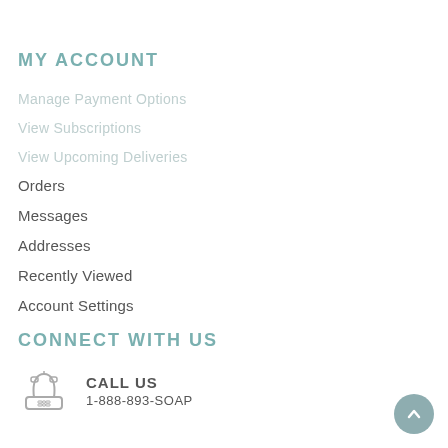MY ACCOUNT
Manage Payment Options
View Subscriptions
View Upcoming Deliveries
Orders
Messages
Addresses
Recently Viewed
Account Settings
CONNECT WITH US
CALL US
1-888-893-SOAP